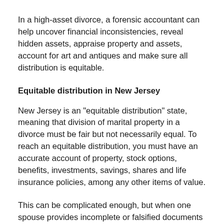In a high-asset divorce, a forensic accountant can help uncover financial inconsistencies, reveal hidden assets, appraise property and assets, account for art and antiques and make sure all distribution is equitable.
Equitable distribution in New Jersey
New Jersey is an "equitable distribution" state, meaning that division of marital property in a divorce must be fair but not necessarily equal. To reach an equitable distribution, you must have an accurate account of property, stock options, benefits, investments, savings, shares and life insurance policies, among any other items of value.
This can be complicated enough, but when one spouse provides incomplete or falsified documents to the other, discovering a person's true net worth is very difficult.